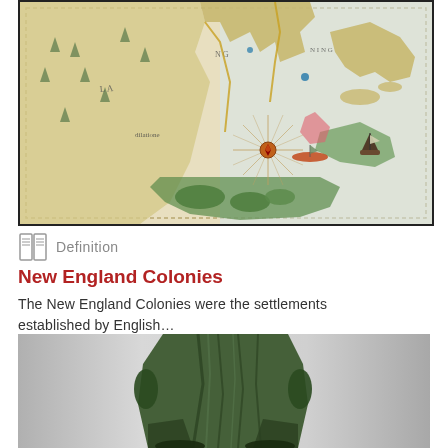[Figure (map): Historical hand-drawn map of New England colonies showing coastline, landmasses, ships, and decorative compass rose with colored illustrations]
Definition
New England Colonies
The New England Colonies were the settlements established by English…
[Figure (photo): Bronze statue showing lower portion of a colonial-era figure in robes/coat, from the waist down]